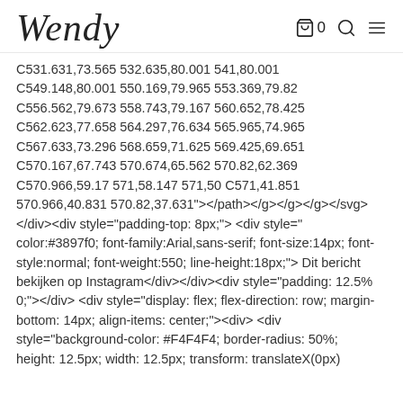Wendy  [cart icon] 0  [search icon]  [menu icon]
C531.631,73.565 532.635,80.001 541,80.001 C549.148,80.001 550.169,79.965 553.369,79.82 C556.562,79.673 558.743,79.167 560.652,78.425 C562.623,77.658 564.297,76.634 565.965,74.965 C567.633,73.296 568.659,71.625 569.425,69.651 C570.167,67.743 570.674,65.562 570.82,62.369 C570.966,59.17 571,58.147 571,50 C571,41.851 570.966,40.831 570.82,37.631"></path></g></g></g></svg> </div><div style="padding-top: 8px;"> <div style=" color:#3897f0; font-family:Arial,sans-serif; font-size:14px; font-style:normal; font-weight:550; line-height:18px;"> Dit bericht bekijken op Instagram</div></div><div style="padding: 12.5% 0;"></div> <div style="display: flex; flex-direction: row; margin-bottom: 14px; align-items: center;"><div> <div style="background-color: #F4F4F4; border-radius: 50%; height: 12.5px; width: 12.5px; transform: translateX(0px) translateY(7px);"></div> <div style="background-color: #F4F4F4; height: 12.5px; tr [scroll button] ; rotate(-45deg)